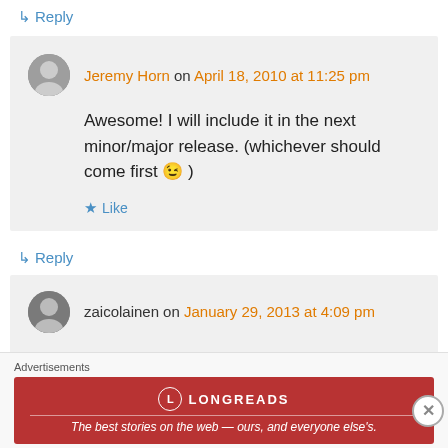↳ Reply
Jeremy Horn on April 18, 2010 at 11:25 pm
Awesome! I will include it in the next minor/major release. (whichever should come first 😉 )
★ Like
↳ Reply
zaicolainen on January 29, 2013 at 4:09 pm
Advertisements
[Figure (other): Longreads advertisement banner: The best stories on the web — ours, and everyone else's.]